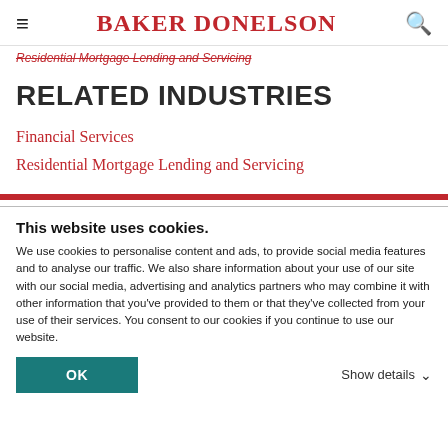BAKER DONELSON
Residential Mortgage Lending and Servicing
RELATED INDUSTRIES
Financial Services
Residential Mortgage Lending and Servicing
This website uses cookies.
We use cookies to personalise content and ads, to provide social media features and to analyse our traffic. We also share information about your use of our site with our social media, advertising and analytics partners who may combine it with other information that you've provided to them or that they've collected from your use of their services. You consent to our cookies if you continue to use our website.
OK
Show details